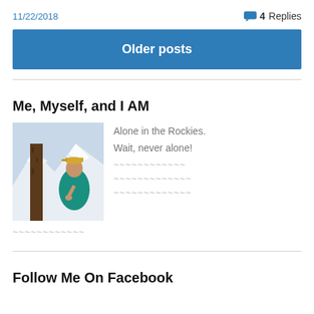11/22/2018
4 Replies
Older posts
Me, Myself, and I AM
[Figure (photo): Person standing outdoors in the Rocky Mountains near a tree with snow-covered peaks in the background, wearing a teal shirt and cap.]
Alone in the Rockies. Wait, never alone!
Follow Me On Facebook